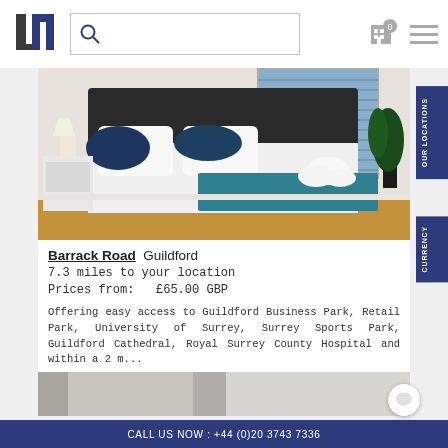[Figure (screenshot): Website header with logo (JN), search bar with magnifying glass icon, building/cart icon with 0 badge, and hamburger menu icon]
[Figure (photo): Photo of a bedroom with white bedding, dark blue/teal accent pillows, folded white towels on the bed, venetian blinds on window, and a potted plant in the corner]
Barrack Road  Guildford
7.3 miles to your location
Prices from:   £65.00 GBP
Offering easy access to Guildford Business Park, Retail Park, University of Surrey, Surrey Sports Park, Guildford Cathedral, Royal Surrey County Hospital and within a 2 m...
VIEW DETAILS
ENQUIRE NOW
[Figure (photo): Partial view of a second property listing photo (grey/neutral interior)]
CALL US NOW : +44 (0)20 3743 7336